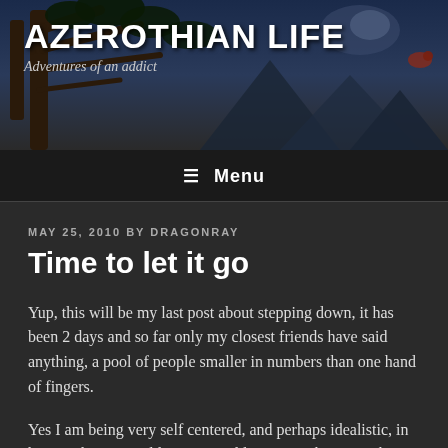[Figure (illustration): Blog header banner with dark blue night sky, tree silhouettes and branches, fantasy/game themed illustration background for 'Azerothian Life' blog]
AZEROTHIAN LIFE
Adventures of an addict
≡ Menu
MAY 25, 2010 BY DRAGONRAY
Time to let it go
Yup, this will be my last post about stepping down, it has been 2 days and so far only my closest friends have said anything, a pool of people smaller in numbers than one hand of fingers.
Yes I am being very self centered, and perhaps idealistic, in hoping that my guild mates would say something, anything to show their support or dissent at